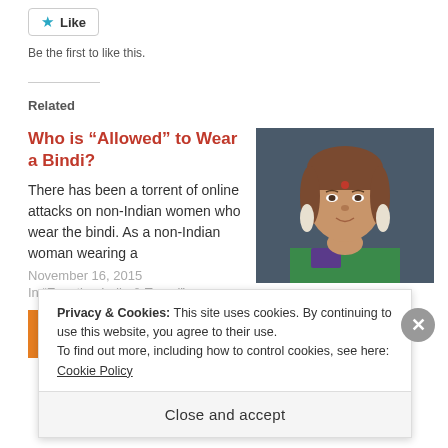Like
Be the first to like this.
Related
Who is “Allowed” to Wear a Bindi?
There has been a torrent of online attacks on non-Indian women who wear the bindi. As a non-Indian woman wearing a
November 16, 2015
In “Expating India & Travel”
[Figure (photo): Portrait photo of a woman with red bindi, wearing earrings and green top]
Beauty & the Bindi
September 2, 2013
In “diaries”
Privacy & Cookies: This site uses cookies. By continuing to use this website, you agree to their use.
To find out more, including how to control cookies, see here: Cookie Policy
Close and accept